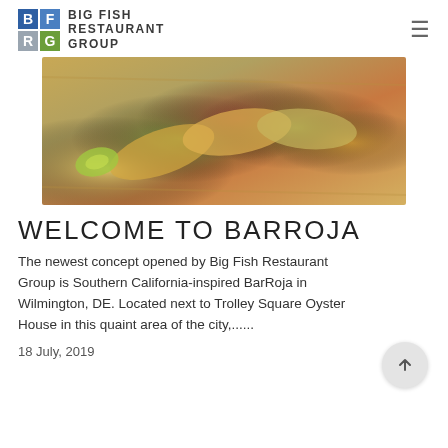[Figure (logo): Big Fish Restaurant Group logo with blue and gray grid squares showing letters B, F, R, G and text BIG FISH RESTAURANT GROUP]
[Figure (photo): Overhead photo of tacos on a wooden serving tray with colorful toppings including avocado, tomato, herbs, and citrus wedge]
WELCOME TO BARROJA
The newest concept opened by Big Fish Restaurant Group is Southern California-inspired BarRoja in Wilmington, DE. Located next to Trolley Square Oyster House in this quaint area of the city,......
18 July, 2019